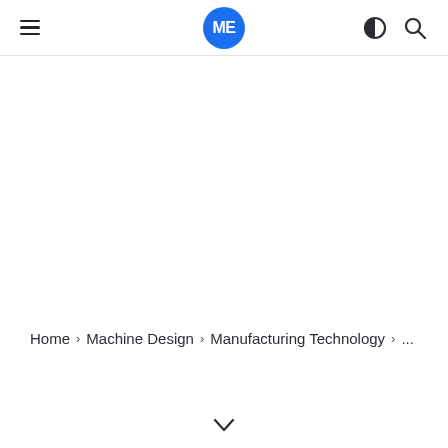ME — Machine Design website header with hamburger menu, ME logo, theme toggle, and search icons
Home › Machine Design › Manufacturing Technology › ...